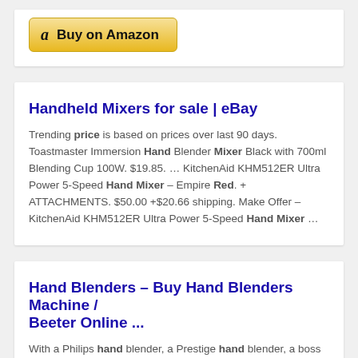[Figure (other): Amazon 'Buy on Amazon' button with Amazon logo]
Handheld Mixers for sale | eBay
Trending price is based on prices over last 90 days. Toastmaster Immersion Hand Blender Mixer Black with 700ml Blending Cup 100W. $19.85. … KitchenAid KHM512ER Ultra Power 5-Speed Hand Mixer – Empire Red. + ATTACHMENTS. $50.00 +$20.66 shipping. Make Offer – KitchenAid KHM512ER Ultra Power 5-Speed Hand Mixer …
Hand Blenders – Buy Hand Blenders Machine / Beeter Online ...
With a Philips hand blender, a Prestige hand blender, a boss